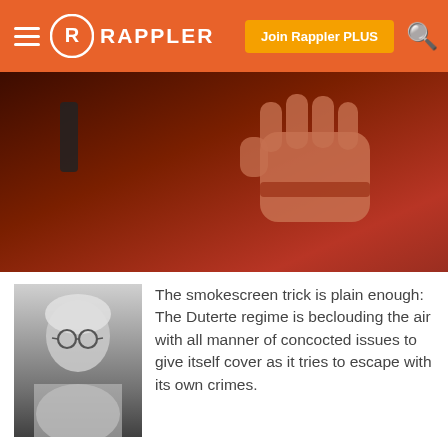RAPPLER — Join Rappler PLUS
[Figure (photo): Dark reddish image showing a clenched fist, likely blood-stained or red-lit, against a dark background]
[Figure (photo): Black and white portrait photo of an older person with glasses and gray/white hair]
The smokescreen trick is plain enough: The Duterte regime is beclouding the air with all manner of concocted issues to give itself cover as it tries to escape with its own crimes.
Rappler uses cookies to customize user experience
By continued use, you agree to our privacy policy and accept our use of such cookies. For further information, click find out more
I ACCEPT